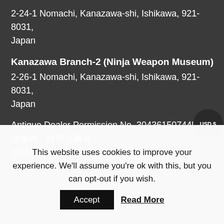2-24-1 Nomachi, Kanazawa-shi, Ishikawa, 921-8031, Japan
Kanazawa Branch-2 (Ninja Weapon Museum)
2-26-1 Nomachi, Kanazawa-shi, Ishikawa, 921-8031, Japan
Antique Dealer Permission No. 304361507445
古物商 許可証番号
が304361507445が
[Figure (infographic): Secure Payments by ... panel showing PayPal and Stripe logos with a lock icon, partially visible]
This website uses cookies to improve your experience. We'll assume you're ok with this, but you can opt-out if you wish.
Accept
Read More